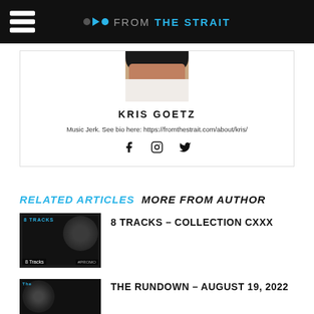FROM THE STRAIT
[Figure (photo): Partial photo of Kris Goetz, cropped showing lower face and white top]
KRIS GOETZ
Music Jerk. See bio here: https://fromthestrait.com/about/kris/
[Figure (infographic): Social media icons: Facebook, Instagram, Twitter]
RELATED ARTICLES   MORE FROM AUTHOR
[Figure (photo): Thumbnail image for 8 Tracks – Collection CXXX article, dark background with headphones]
8 TRACKS – COLLECTION CXXX
[Figure (photo): Thumbnail image for The Rundown – August 19, 2022 article, dark speaker graphic]
THE RUNDOWN – AUGUST 19, 2022